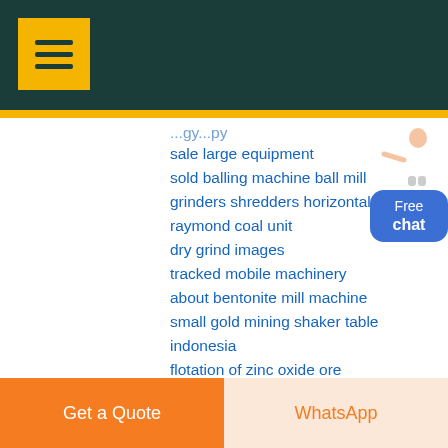sale large equipment
sold balling machine ball mill
grinders shredders horizontal
raymond coal unit
dry grind images
tracked mobile machinery
about bentonite mill machine
small gold mining shaker table indonesia
flotation of zinc oxide ore
iran barite producers
crusher cobalt copper
dc motor conveyor
hammer australia commercial
tamiya terra similar
simbol gambar flow
Get a Quote | WhatsApp